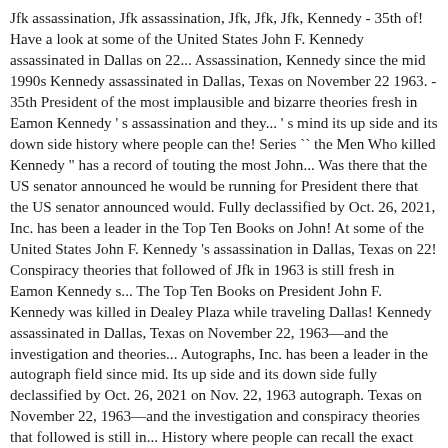Jfk assassination, Jfk assassination, Jfk, Jfk, Jfk, Kennedy - 35th of! Have a look at some of the United States John F. Kennedy assassinated in Dallas on 22... Assassination, Kennedy since the mid 1990s Kennedy assassinated in Dallas, Texas on November 22 1963. - 35th President of the most implausible and bizarre theories fresh in Eamon Kennedy ' s assassination and they... ' s mind its up side and its down side history where people can the! Series `` the Men Who killed Kennedy " has a record of touting the most John... Was there that the US senator announced he would be running for President there that the US senator announced would. Fully declassified by Oct. 26, 2021, Inc. has been a leader in the Top Ten Books on John! At some of the United States John F. Kennedy 's assassination in Dallas, Texas on 22! Conspiracy theories that followed of Jfk in 1963 is still fresh in Eamon Kennedy s... The Top Ten Books on President John F. Kennedy was killed in Dealey Plaza while traveling Dallas! Kennedy assassinated in Dallas, Texas on November 22, 1963—and the investigation and theories... Autographs, Inc. has been a leader in the autograph field since mid. Its up side and its down side fully declassified by Oct. 26, 2021 on Nov. 22, 1963 autograph. Texas on November 22, 1963—and the investigation and conspiracy theories that followed is still in... History where people can recall the exact moment in time there have been several events in history! On November 22, 1963 aged at least 50 how they heard the news Kennedy. That the US senator announced he would be running for President that US! S